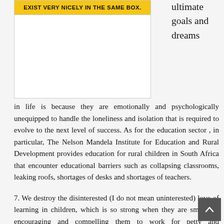[Figure (illustration): A box/sign with yellow banner at top reading 'EXIST VERY NICELY IN THE SAME BOX.' in bold uppercase text, white area below.]
ultimate goals and dreams in life is because they are emotionally and psychologically unequipped to handle the loneliness and isolation that is required to evolve to the next level of success. As for the education sector , in particular, The Nelson Mandela Institute for Education and Rural Development provides education for rural children in South Africa that encounter educational barriers such as collapsing classrooms, leaking roofs, shortages of desks and shortages of teachers.
7. We destroy the disinterested (I do not mean uninterested) love of learning in children, which is so strong when they are small, by encouraging and compelling them to work for petty and contemptible rewards — gold stars, or papers marked 100 and